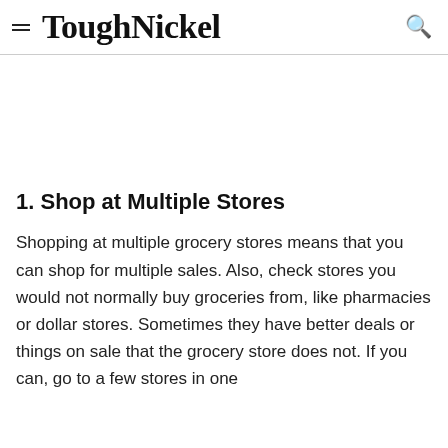ToughNickel
1. Shop at Multiple Stores
Shopping at multiple grocery stores means that you can shop for multiple sales. Also, check stores you would not normally buy groceries from, like pharmacies or dollar stores. Sometimes they have better deals or things on sale that the grocery store does not. If you can, go to a few stores in one